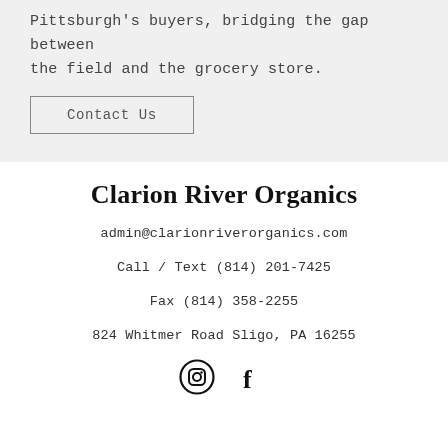Pittsburgh's buyers, bridging the gap between the field and the grocery store.
Contact Us
Clarion River Organics
admin@clarionriverorganics.com
Call / Text (814) 201-7425
Fax (814) 358-2255
824 Whitmer Road Sligo, PA 16255
[Figure (illustration): Instagram and Facebook social media icons]